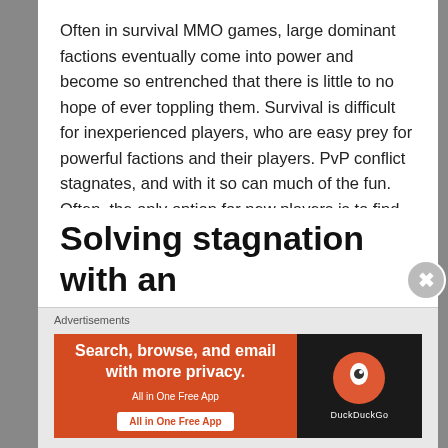Often in survival MMO games, large dominant factions eventually come into power and become so entrenched that there is little to no hope of ever toppling them. Survival is difficult for inexperienced players, who are easy prey for powerful factions and their players. PvP conflict stagnates, and with it so can much of the fun. Often, the only option for new players is to find another server to play on—or give up playing the game altogether.
Solving stagnation with an
[Figure (other): DuckDuckGo advertisement banner: orange background with text 'Search, browse, and email with more privacy. All in One Free App' and DuckDuckGo logo on black background]